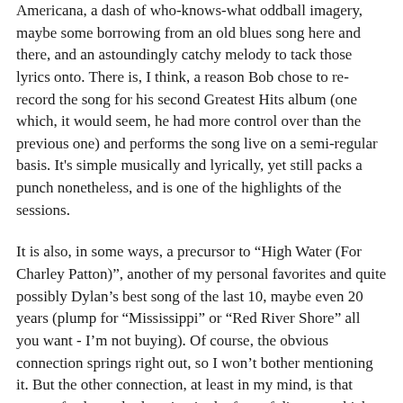Americana, a dash of who-knows-what oddball imagery, maybe some borrowing from an old blues song here and there, and an astoundingly catchy melody to tack those lyrics onto. There is, I think, a reason Bob chose to re-record the song for his second Greatest Hits album (one which, it would seem, he had more control over than the previous one) and performs the song live on a semi-regular basis. It's simple musically and lyrically, yet still packs a punch nonetheless, and is one of the highlights of the sessions.
It is also, in some ways, a precursor to "High Water (For Charley Patton)", another of my personal favorites and quite possibly Dylan's best song of the last 10, maybe even 20 years (plump for "Mississippi" or "Red River Shore" all you want - I'm not buying). Of course, the obvious connection springs right out, so I won't bother mentioning it. But the other connection, at least in my mind, is that sense of calm and relaxation in the face of disaster, which seems to fit Dylan's MO of being above the fray, never devolving into urgency or histrionics, keeping that supernatural cool that allowed that image of him as the ultimate hipster to cultivate and remain to this very day. It's ironic that both of these